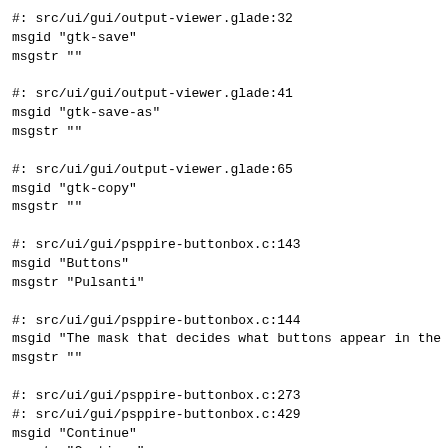#: src/ui/gui/output-viewer.glade:32
msgid "gtk-save"
msgstr ""
#: src/ui/gui/output-viewer.glade:41
msgid "gtk-save-as"
msgstr ""
#: src/ui/gui/output-viewer.glade:65
msgid "gtk-copy"
msgstr ""
#: src/ui/gui/psppire-buttonbox.c:143
msgid "Buttons"
msgstr "Pulsanti"
#: src/ui/gui/psppire-buttonbox.c:144
msgid "The mask that decides what buttons appear in the b
msgstr ""
#: src/ui/gui/psppire-buttonbox.c:273
#: src/ui/gui/psppire-buttonbox.c:429
msgid "Continue"
msgstr "Continua"
#: src/ui/gui/psppire-buttonbox.c:427
msgid "OK"
msgstr "OK"
#: src/ui/gui/psppire-buttonbox.c:428